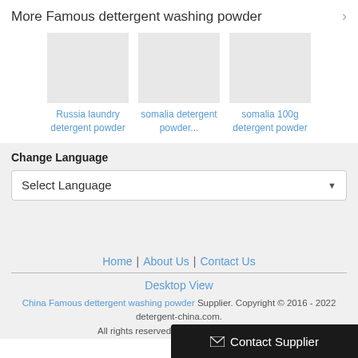More Famous dettergent washing powder
[Figure (photo): Product image placeholder for Russia laundry detergent powder]
Russia laundry detergent powder
[Figure (photo): Product image placeholder for somalia detergent powder...]
somalia detergent powder...
[Figure (photo): Product image placeholder for somalia 100g detergent powder]
somalia 100g detergent powder
Change Language
Select Language
Home | About Us | Contact Us
Desktop View
China Famous dettergent washing powder Supplier. Copyright © 2016 - 2022 detergent-china.com. All rights reserved. Developed by ECER
Contact Supplier